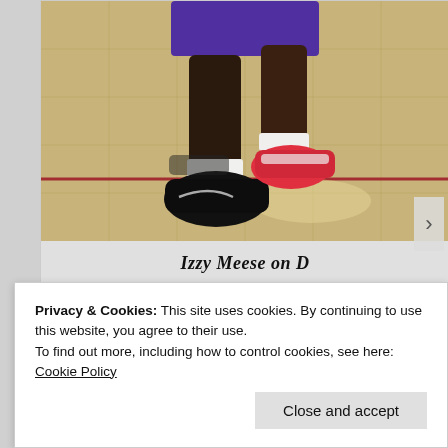[Figure (photo): Close-up photo of a basketball player's legs and feet on an indoor hardwood court, wearing black Nike high-top sneakers, black socks, and purple shorts. Red court lines visible.]
Izzy Meese on D
[Figure (photo): Partial photo of an indoor basketball gym showing bleachers, banners on the wall, and a basketball hoop at the far end.]
Privacy & Cookies: This site uses cookies. By continuing to use this website, you agree to their use.
To find out more, including how to control cookies, see here: Cookie Policy
Close and accept